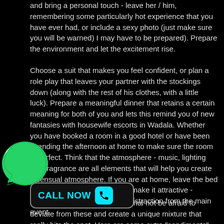and bring a personal touch - leave her / him, remembering some particularly hot experience that you have ever had, or include a sexy photo (just make sure you will be warned) I may have to be prepared). Prepare the environment and let the excitement rise.
Choose a suit that makes you feel confident, or plan a role play that leaves your partner with the stockings down (along with the rest of his clothes, with a little luck). Prepare a meaningful dinner that retains a certain meaning for both of you and lets this remind you of new fantasies with housewife escorts in Wadala. Whether you have booked a room in a good hotel or have been spending the afternoon at home to make sure the room is perfect. Think that the atmosphere - music, lighting and fragrance are all elements that will help you create a sensual atmosphere. If you are at home, leave the bed smooth and clean the room to make it attractive - anything off-site is a potential distraction from the main event.
[Figure (logo): WhatsApp green logo icon]
[Figure (other): CALL NOW button with cyan text and phone icon on dark background with rounded border]
e for an incredible night - personal not be afraid to deviate from these and create a unique mixture that really hits the spot. Here are some extra "condiments" that you can consider when adding to your special celebration. For a truly memorable